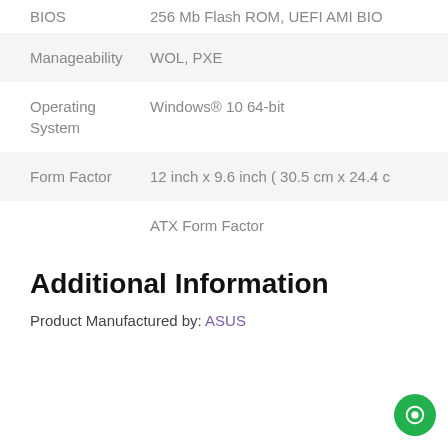| Attribute | Value |
| --- | --- |
| BIOS | 256 Mb Flash ROM, UEFI AMI BIO… |
| Manageability | WOL, PXE |
| Operating System | Windows® 10 64-bit |
| Form Factor | 12 inch x 9.6 inch ( 30.5 cm x 24.4 … |
|  | ATX Form Factor |
Additional Information
Product Manufactured by: ASUS